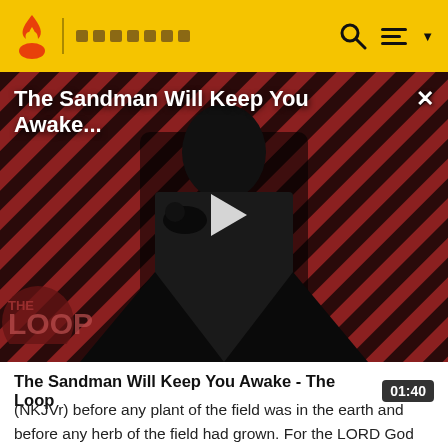🔥 | ■■■■■■■
[Figure (screenshot): Video thumbnail for 'The Sandman Will Keep You Awake - The Loop' showing a dark-cloaked figure against a diagonal striped red-dark background, with a play button overlay and THE LOOP logo in the bottom left. Title text overlaid at top.]
The Sandman Will Keep You Awake - The Loop
(NKJVr) before any plant of the field was in the earth and before any herb of the field had grown. For the LORD God had not caused it to rain on the earth, and there was no man to till the ground;